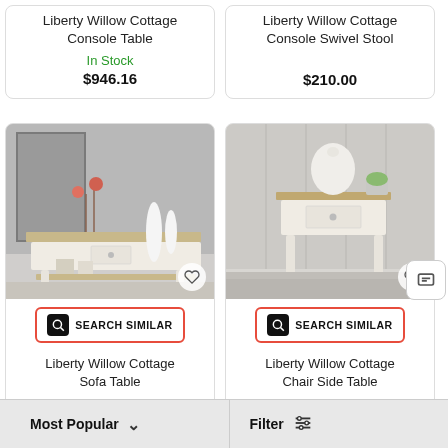Liberty Willow Cottage Console Table
In Stock
$946.16
Liberty Willow Cottage Console Swivel Stool
$210.00
[Figure (photo): Liberty Willow Cottage Sofa Table - white cottage-style sofa table with drawer, lower shelf, decorative vases and flowers]
SEARCH SIMILAR
Liberty Willow Cottage Sofa Table
$636.91
[Figure (photo): Liberty Willow Cottage Chair Side Table - white cottage-style end table with drawer, decorative vase and plant on top]
SEARCH SIMILAR
Liberty Willow Cottage Chair Side Table
$350.00
Most Popular
Filter